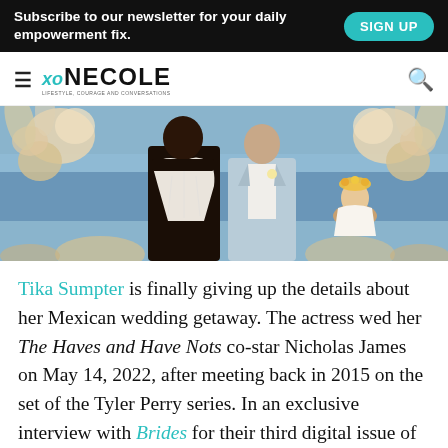Subscribe to our newsletter for your daily empowerment fix. | SIGN UP
xo NECOLE — Lifestyle, Courage and Conversations
[Figure (photo): Wedding photo showing a bride in a white strapless lace gown and a groom in a light blue suit, with a flower girl wearing a floral crown, standing in front of a floral arch with the ocean in the background.]
Tika Sumpter is finally giving up the details about her Mexican wedding getaway. The actress wed her The Haves and Have Nots co-star Nicholas James on May 14, 2022, after meeting back in 2015 on the set of the Tyler Perry series. In an exclusive interview with Brides for their third digital issue of the year, Tika gave a play-by-play of her adults-only